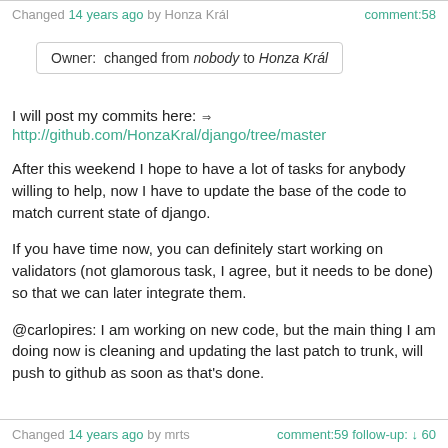Changed 14 years ago by Honza Král    comment:58
Owner:  changed from nobody to Honza Král
I will post my commits here: ⇒
http://github.com/HonzaKral/django/tree/master
After this weekend I hope to have a lot of tasks for anybody willing to help, now I have to update the base of the code to match current state of django.
If you have time now, you can definitely start working on validators (not glamorous task, I agree, but it needs to be done) so that we can later integrate them.
@carlopires: I am working on new code, but the main thing I am doing now is cleaning and updating the last patch to trunk, will push to github as soon as that's done.
Changed 14 years ago by mrts    comment:59 follow-up: ↓ 60